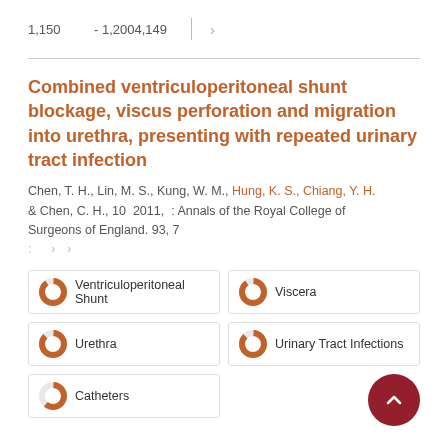1,150   - 1,2004,149   ›
Combined ventriculoperitoneal shunt blockage, viscus perforation and migration into urethra, presenting with repeated urinary tract infection
Chen, T. H., Lin, M. S., Kung, W. M., Hung, K. S., Chiang, Y. H. & Chen, C. H., 10  2011,  : Annals of the Royal College of Surgeons of England. 93, 7
:  ›  ›
Ventriculoperitoneal Shunt
Viscera
Urethra
Urinary Tract Infections
Catheters